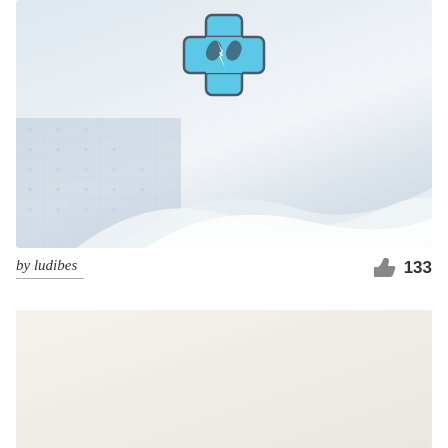[Figure (photo): Medical/healthcare themed image card with a blue medical cross logo overlaid on a soft blurred background showing white fabric or bandages. The image has a light blue-grey wash.]
by ludibes
133
[Figure (photo): Second image card placeholder with a light warm grey/beige background, appears to be another medical or healthcare related image that is mostly white/blank.]